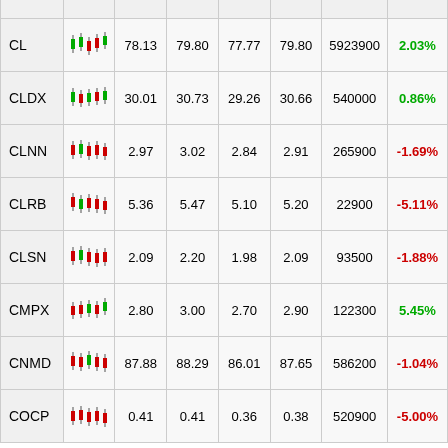| Symbol | Chart | Open | High | Low | Close | Volume | Change% |
| --- | --- | --- | --- | --- | --- | --- | --- |
| CL |  | 78.13 | 79.80 | 77.77 | 79.80 | 5923900 | 2.03% |
| CLDX |  | 30.01 | 30.73 | 29.26 | 30.66 | 540000 | 0.86% |
| CLNN |  | 2.97 | 3.02 | 2.84 | 2.91 | 265900 | -1.69% |
| CLRB |  | 5.36 | 5.47 | 5.10 | 5.20 | 22900 | -5.11% |
| CLSN |  | 2.09 | 2.20 | 1.98 | 2.09 | 93500 | -1.88% |
| CMPX |  | 2.80 | 3.00 | 2.70 | 2.90 | 122300 | 5.45% |
| CNMD |  | 87.88 | 88.29 | 86.01 | 87.65 | 586200 | -1.04% |
| COCP |  | 0.41 | 0.41 | 0.36 | 0.38 | 520900 | -5.00% |